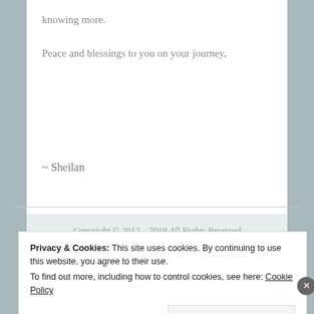knowing more.
Peace and blessings to you on your journey,
~ Sheilan
Copyright © 2012 – 2019 All Rights Reserved
Sheilan/Infinite Living Teachings
Privacy & Cookies: This site uses cookies. By continuing to use this website, you agree to their use.
To find out more, including how to control cookies, see here: Cookie Policy
Close and accept